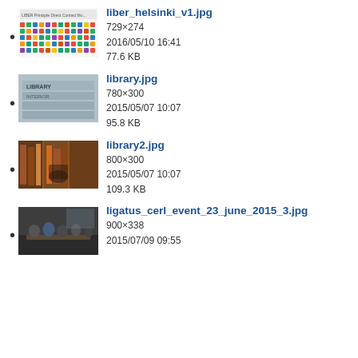liber_helsinki_v1.jpg
729×274
2016/05/10 16:41
77.6 KB
library.jpg
780×300
2015/05/07 10:07
95.8 KB
library2.jpg
800×300
2015/05/07 10:07
109.3 KB
ligatus_cerl_event_23_june_2015_3.jpg
900×338
2015/07/09 09:55